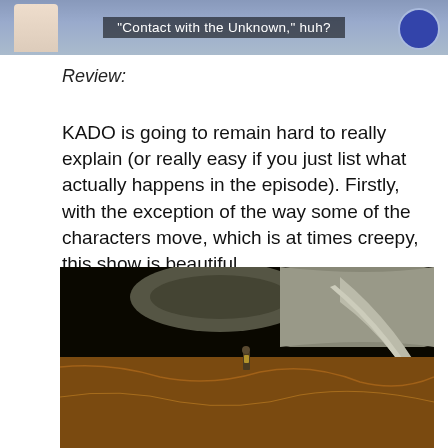[Figure (screenshot): Anime screenshot with subtitle text reading: "Contact with the Unknown," huh?]
Review:
KADO is going to remain hard to really explain (or really easy if you just list what actually happens in the episode). Firstly, with the exception of the way some of the characters move, which is at times creepy, this show is beautiful.
[Figure (screenshot): Anime screenshot showing a small figure standing on a large curved surface, possibly a spacecraft or giant structure, with a glowing orange ground below.]